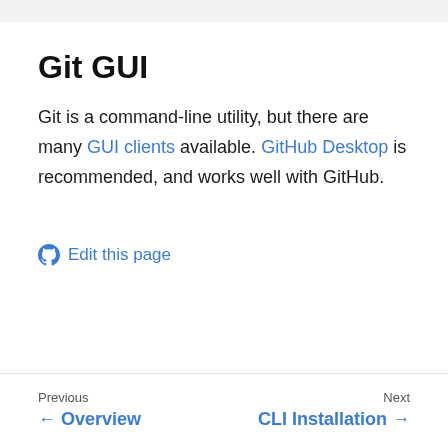Git GUI
Git is a command-line utility, but there are many GUI clients available. GitHub Desktop is recommended, and works well with GitHub.
Edit this page
Previous ← Overview | Next CLI Installation →